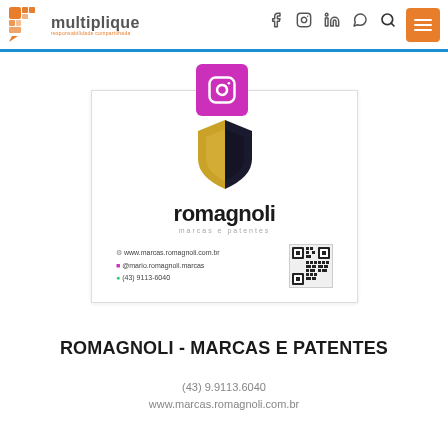multiplique
[Figure (logo): Multiplique logo with orange mosaic puzzle icon and brand name]
[Figure (logo): Instagram icon badge (magenta/pink background)]
[Figure (illustration): Romagnoli Marcas e Patentes business card with shield logo, brand name, website www.marcas.romagnoli.com.br, @mario.romagnoli.marcas, (43) 9113-6040, and QR code]
ROMAGNOLI - MARCAS E PATENTES
(43) 9.9113.6040
www.marcas.romagnoli.com.br